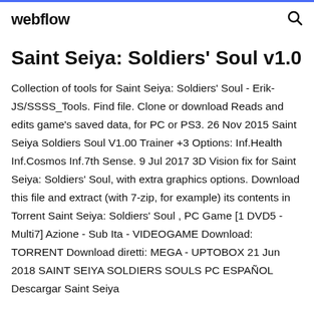webflow
Saint Seiya: Soldiers' Soul v1.0
Collection of tools for Saint Seiya: Soldiers' Soul - Erik-JS/SSSS_Tools. Find file. Clone or download Reads and edits game's saved data, for PC or PS3. 26 Nov 2015 Saint Seiya Soldiers Soul V1.00 Trainer +3 Options: Inf.Health Inf.Cosmos Inf.7th Sense. 9 Jul 2017 3D Vision fix for Saint Seiya: Soldiers' Soul, with extra graphics options. Download this file and extract (with 7-zip, for example) its contents in  Torrent Saint Seiya: Soldiers' Soul , PC Game [1 DVD5 - Multi7] Azione - Sub Ita - VIDEOGAME Download: TORRENT Download diretti: MEGA - UPTOBOX 21 Jun 2018 SAINT SEIYA SOLDIERS SOULS PC ESPAÑOL Descargar Saint Seiya